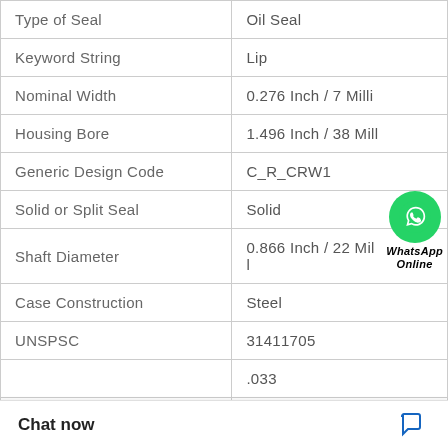| Property | Value |
| --- | --- |
| Type of Seal | Oil Seal |
| Keyword String | Lip |
| Nominal Width | 0.276 Inch / 7 Milli |
| Housing Bore | 1.496 Inch / 38 Mill |
| Generic Design Code | C_R_CRW1 |
| Solid or Split Seal | Solid |
| Shaft Diameter | 0.866 Inch / 22 Mill |
| Case Construction | Steel |
| UNSPSC | 31411705 |
|  | .033 |
|  | .276 Inch / 7 Milli |
[Figure (logo): WhatsApp Online green circle badge with phone icon and text 'WhatsApp Online']
Chat now